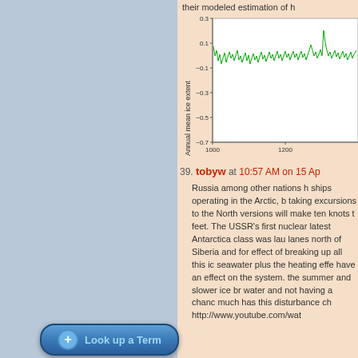their modeled estimation of h
[Figure (continuous-plot): Line chart showing Annual mean ice extent (y-axis from -0.7 to 0.3+) vs year (x-axis from 1000 to 1200+). A noisy green line fluctuates mostly between -0.1 and 0.2, with some excursions to higher values near 1000 and later.]
39. tobyw at 10:57 AM on 15 Ap
Russia among other nations h ships operating in the Arctic, b taking excursions to the North versions will make ten knots t feet. The USSR's first nuclear latest Antarctica class was lau lanes north of Siberia and for effect of breaking up all this ic seawater plus the heating effe have an effect on the system. the summer and slower ice br water and not having a chanc much has this disturbance ch http://www.youtube.com/wat